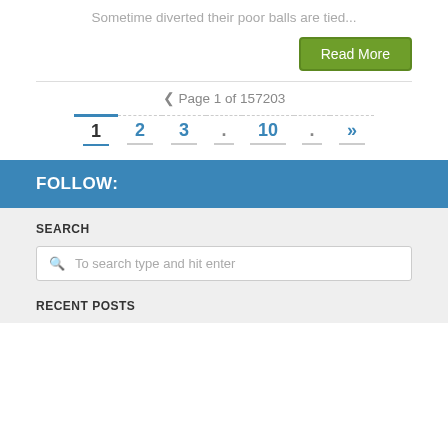Sometime diverted their poor balls are tied...
Read More
❮ Page 1 of 157203
1 2 3 . 10 . »
FOLLOW:
SEARCH
To search type and hit enter
RECENT POSTS